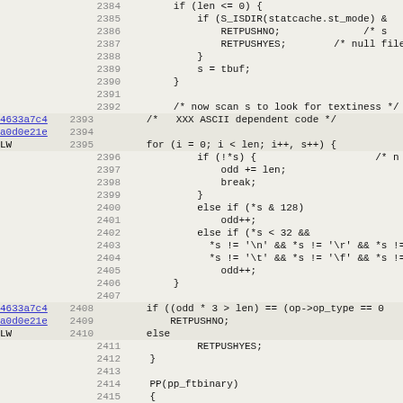[Figure (screenshot): Source code viewer showing C code lines 2384-2415 with git blame annotations (commit hashes 4633a7c4 and a0d0e21e, author LW) for lines 2393-2394 and 2408-2409. The code scans a buffer for textiness/binary detection.]